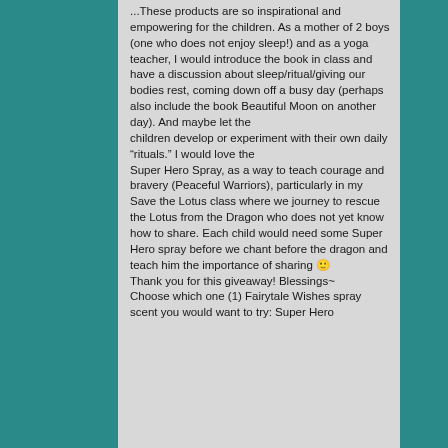...These products are so inspirational and empowering for the children. As a mother of 2 boys (one who does not enjoy sleep!) and as a yoga teacher, I would introduce the book in class and have a discussion about sleep/ritual/giving our bodies rest, coming down off a busy day (perhaps also include the book Beautiful Moon on another day). And maybe let the children develop or experiment with their own daily “rituals.” I would love the Super Hero Spray, as a way to teach courage and bravery (Peaceful Warriors), particularly in my Save the Lotus class where we journey to rescue the Lotus from the Dragon who does not yet know how to share. Each child would need some Super Hero spray before we chant before the dragon and teach him the importance of sharing 🙂 Thank you for this giveaway! Blessings~ Choose which one (1) Fairytale Wishes spray scent you would want to try: Super Hero